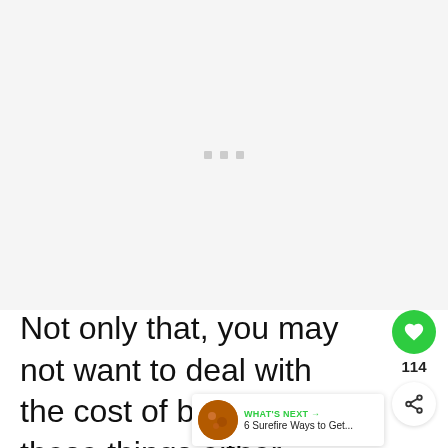[Figure (other): Advertisement placeholder area with three small gray square dots centered in a light gray box]
Not only that, you may not want to deal with the cost of buying these things either. They aren't the most ideal way to